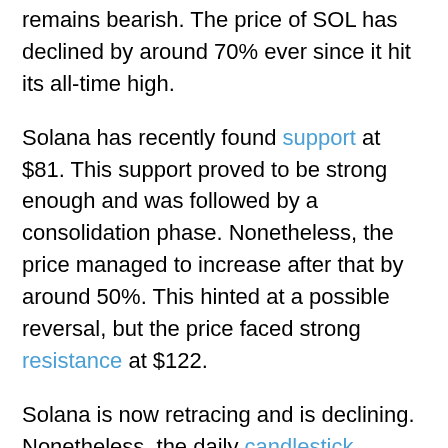remains bearish. The price of SOL has declined by around 70% ever since it hit its all-time high.
Solana has recently found support at $81. This support proved to be strong enough and was followed by a consolidation phase. Nonetheless, the price managed to increase after that by around 50%. This hinted at a possible reversal, but the price faced strong resistance at $122.
Solana is now retracing and is declining. Nonetheless, the daily candlestick suggests bullish tendencies, despite the bearish trend. If SOL could find support soon and have a higher low than the previous one, then we could eventually see a higher high. This